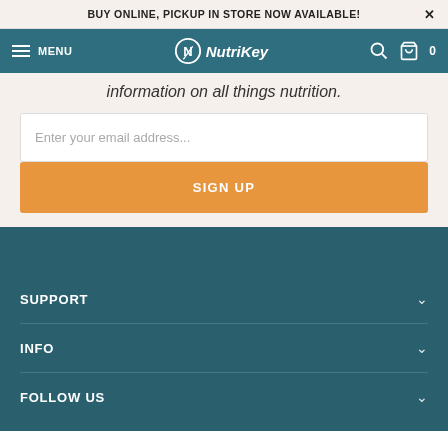BUY ONLINE, PICKUP IN STORE NOW AVAILABLE!
MENU NutriKey
information on all things nutrition.
Enter your email address...
SIGN UP
SUPPORT
INFO
FOLLOW US